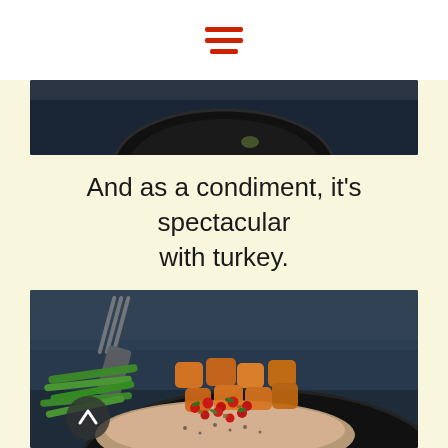[Figure (screenshot): Hamburger menu icon with three red horizontal lines at the top of the page]
[Figure (photo): Top portion of a dark plate with food on a dark blue background, partially visible]
And as a condiment, it's spectacular with turkey.
[Figure (photo): Food photo showing a turkey fillet topped with cranberry relish, green beans, and roasted squash in a dark cast iron pan with a fork, on a dark slate background. An up-arrow button is visible in the lower left.]